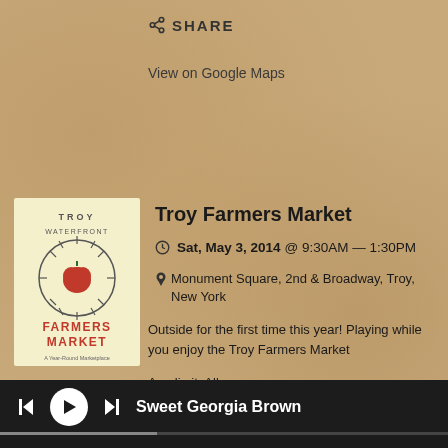SHARE
View on Google Maps
[Figure (logo): Troy Waterfront Farmers Market logo - circular sun design with red tomato, text FARMERS MARKET in red]
Troy Farmers Market
Sat, May 3, 2014 @ 9:30AM — 1:30PM
Monument Square, 2nd & Broadway, Troy, New York
Outside for the first time this year! Playing while you enjoy the Troy Farmers Market
Age limit: All ages
SHARE
[Figure (logo): Troy Waterfront Farmers Market logo - partial, cropped at bottom]
Troy Farmers Market
Sweet Georgia Brown